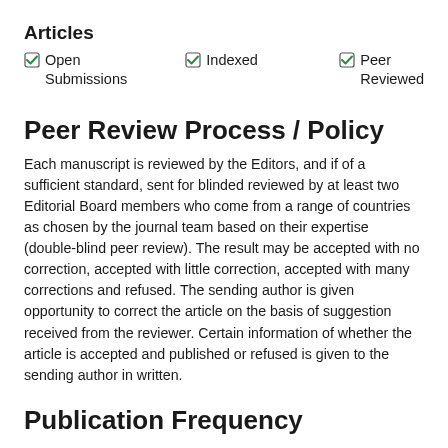Articles
✓ Open Submissions
✓ Indexed
✓ Peer Reviewed
Peer Review Process / Policy
Each manuscript is reviewed by the Editors, and if of a sufficient standard, sent for blinded reviewed by at least two Editorial Board members who come from a range of countries as chosen by the journal team based on their expertise (double-blind peer review). The result may be accepted with no correction, accepted with little correction, accepted with many corrections and refused. The sending author is given opportunity to correct the article on the basis of suggestion received from the reviewer. Certain information of whether the article is accepted and published or refused is given to the sending author in written.
Publication Frequency